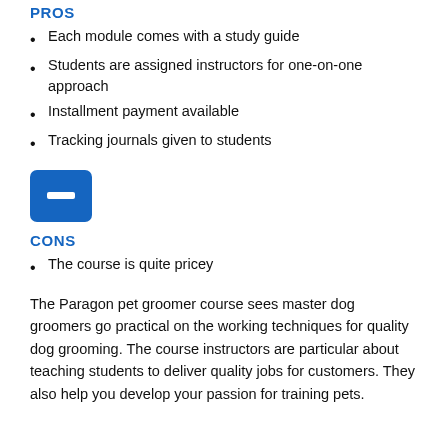PROS
Each module comes with a study guide
Students are assigned instructors for one-on-one approach
Installment payment available
Tracking journals given to students
[Figure (illustration): Blue rectangle icon with a white minus/dash symbol, representing a 'cons' section marker]
CONS
The course is quite pricey
The Paragon pet groomer course sees master dog groomers go practical on the working techniques for quality dog grooming. The course instructors are particular about teaching students to deliver quality jobs for customers. They also help you develop your passion for training pets.